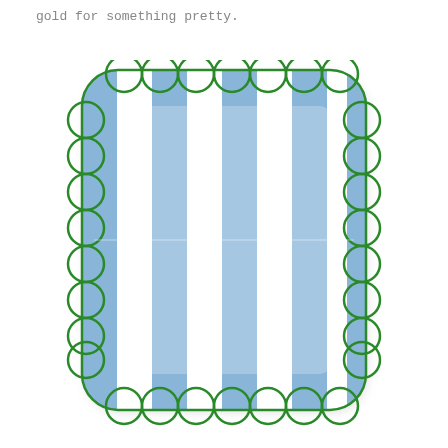gold for something pretty.
[Figure (photo): A square paper plate with blue and white vertical stripes and a scalloped green border edge, photographed on a white background.]